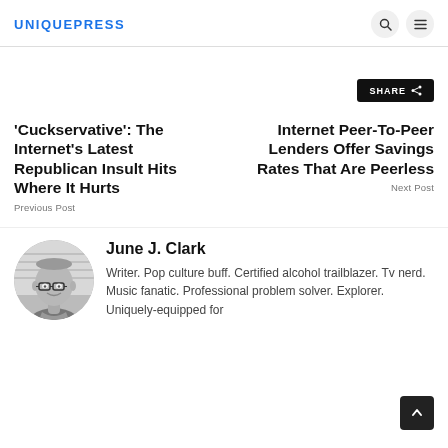UNIQUEPRESS
SHARE
'Cuckservative': The Internet's Latest Republican Insult Hits Where It Hurts
Previous Post
Internet Peer-To-Peer Lenders Offer Savings Rates That Are Peerless
Next Post
[Figure (photo): Black and white circular portrait photo of a person wearing glasses, smiling slightly]
June J. Clark
Writer. Pop culture buff. Certified alcohol trailblazer. Tv nerd. Music fanatic. Professional problem solver. Explorer. Uniquely-equipped for